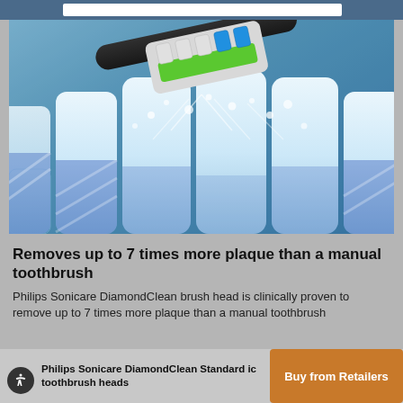[Figure (photo): Close-up product photo of a Philips Sonicare DiamondClean toothbrush head positioned above a row of teeth, with water droplets splashing around the bristles. Blue gradient background, white teeth with blue stripe patterns on the sides.]
Removes up to 7 times more plaque than a manual toothbrush
Philips Sonicare DiamondClean brush head is clinically proven to remove up to 7 times more plaque than a manual toothbrush
Philips Sonicare DiamondClean Standard ic toothbrush heads
Buy from Retailers